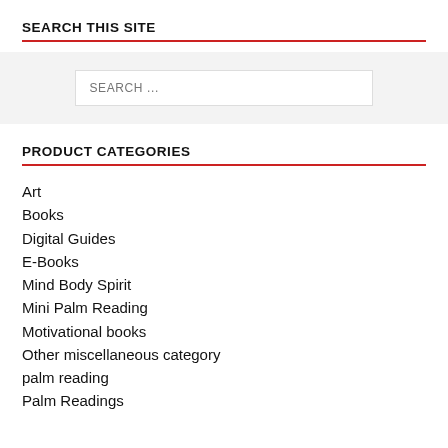SEARCH THIS SITE
SEARCH ...
PRODUCT CATEGORIES
Art
Books
Digital Guides
E-Books
Mind Body Spirit
Mini Palm Reading
Motivational books
Other miscellaneous category
palm reading
Palm Readings